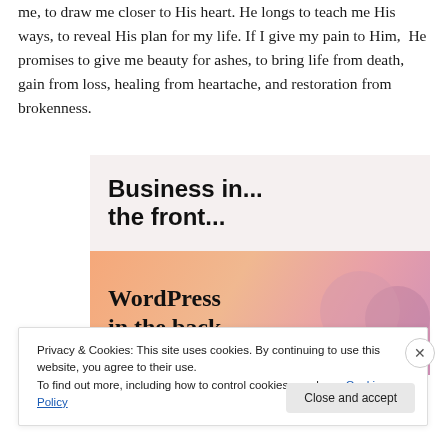me, to draw me closer to His heart. He longs to teach me His ways, to reveal His plan for my life. If I give my pain to Him,  He promises to give me beauty for ashes, to bring life from death, gain from loss, healing from heartache, and restoration from brokenness.
[Figure (illustration): Advertisement image with two sections: top section with light pink/beige background showing bold text 'Business in... the front...', bottom section with orange-pink gradient background showing bold text 'WordPress in the back.' with decorative circles on the right.]
Privacy & Cookies: This site uses cookies. By continuing to use this website, you agree to their use.
To find out more, including how to control cookies, see here: Cookie Policy